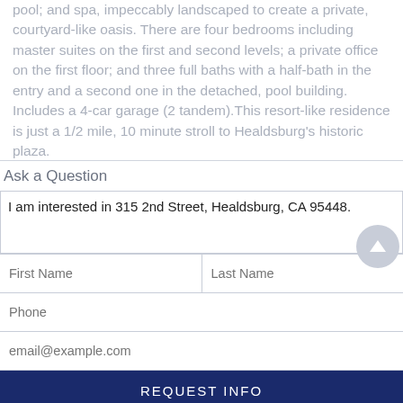pool; and spa, impeccably landscaped to create a private, courtyard-like oasis. There are four bedrooms including master suites on the first and second levels; a private office on the first floor; and three full baths with a half-bath in the entry and a second one in the detached, pool building. Includes a 4-car garage (2 tandem).This resort-like residence is just a 1/2 mile, 10 minute stroll to Healdsburg's historic plaza.
Ask a Question
I am interested in 315 2nd Street, Healdsburg, CA 95448.
First Name
Last Name
Phone
email@example.com
REQUEST INFO
This site is protected by reCAPTCHA and the Google Privacy Policy and